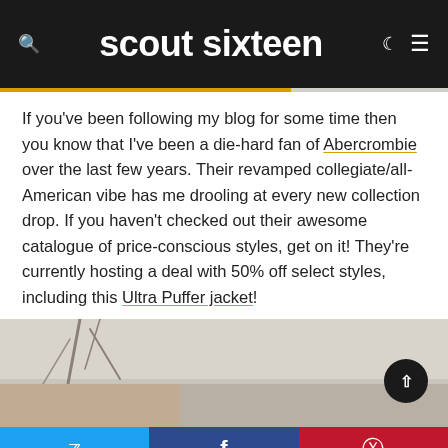scout sixteen
If you've been following my blog for some time then you know that I've been a die-hard fan of Abercrombie over the last few years. Their revamped collegiate/all-American vibe has me drooling at every new collection drop. If you haven't checked out their awesome catalogue of price-conscious styles, get on it! They're currently hosting a deal with 50% off select styles, including this Ultra Puffer jacket!
[Figure (photo): Outdoor winter photo with bare tree branches and blurred background, partial view]
Twitter | Facebook | Pinterest social share buttons